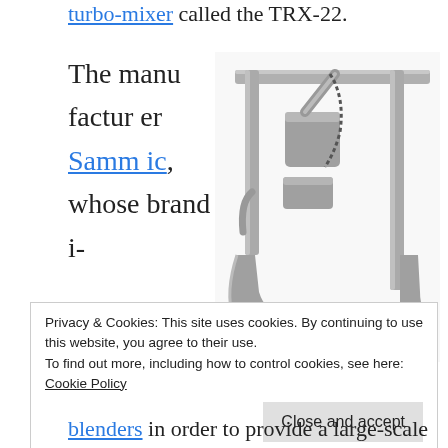turbo-mixer called the TRX-22.
The manufacturer Sammic, whose brand is
[Figure (photo): Photo of a large industrial turbo-mixer machine called the TRX-22, shown in a silver/grey metallic finish on wheeled legs, with mixing arm and blade attachment at the bottom right.]
Privacy & Cookies: This site uses cookies. By continuing to use this website, you agree to their use.
To find out more, including how to control cookies, see here:
Cookie Policy
Close and accept
blenders in order to provide a large-scale